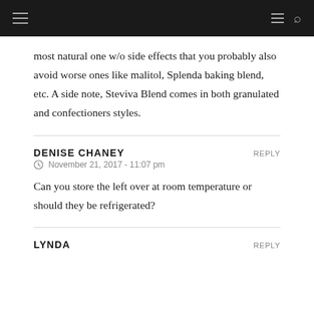(navigation bar with hamburger menu and search icon)
most natural one w/o side effects that you probably also avoid worse ones like malitol, Splenda baking blend, etc. A side note, Steviva Blend comes in both granulated and confectioners styles.
DENISE CHANEY — November 21, 2017 - 11:07 pm
Can you store the left over at room temperature or should they be refrigerated?
LYNDA